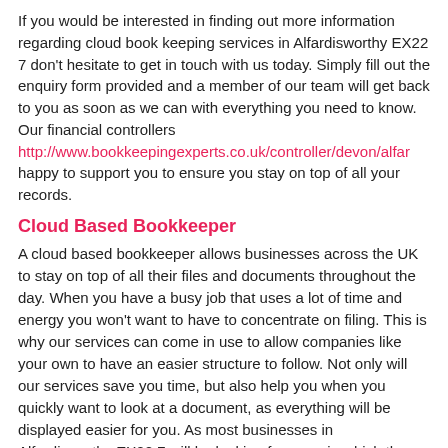If you would be interested in finding out more information regarding cloud book keeping services in Alfardisworthy EX22 7 don't hesitate to get in touch with us today. Simply fill out the enquiry form provided and a member of our team will get back to you as soon as we can with everything you need to know. Our financial controllers http://www.bookkeepingexperts.co.uk/controller/devon/alfar happy to support you to ensure you stay on top of all your records.
Cloud Based Bookkeeper
A cloud based bookkeeper allows businesses across the UK to stay on top of all their files and documents throughout the day. When you have a busy job that uses a lot of time and energy you won't want to have to concentrate on filing. This is why our services can come in use to allow companies like your own to have an easier structure to follow. Not only will our services save you time, but also help you when you quickly want to look at a document, as everything will be displayed easier for you. As most businesses in Alfardisworthy EX22 7 will be looking for ways in which they can improve the productivity, our team are on hand to support you. Fill out the enquiry form now if you would like to find out more information and receive further details.